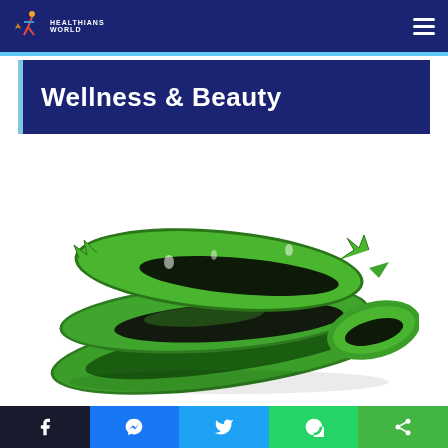Healthians World — navigation header with hamburger menu
Wellness & Beauty
[Figure (photo): Stacked slices of fresh aloe vera leaf on white background, showing green exterior and gel interior]
Social share bar: Facebook, Messenger, Twitter, WhatsApp, Share